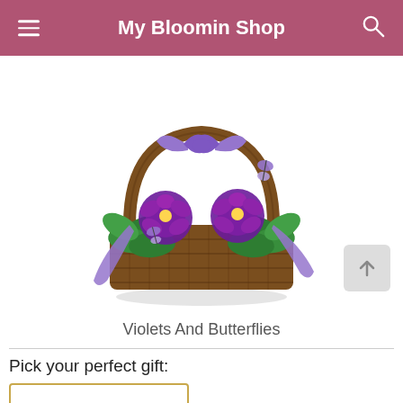My Bloomin Shop
[Figure (photo): A wicker basket containing two purple African violet plants, decorated with a large purple ribbon bow and two small butterfly ornaments on the handle and among the flowers.]
Violets And Butterflies
Pick your perfect gift: